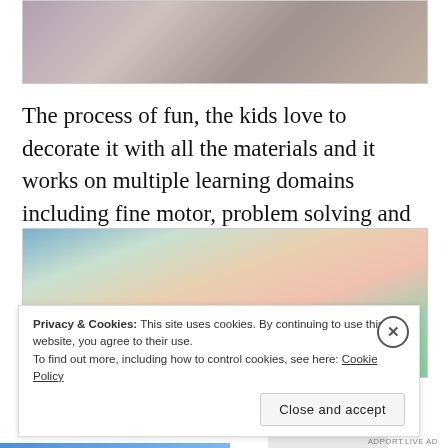[Figure (photo): Top partial photo showing hands decorating or crafting with paper/sticker materials on a dark surface]
The process of fun, the kids love to decorate it with all the materials and it works on multiple learning domains including fine motor, problem solving and spatial awareness.
[Figure (photo): Photo showing colorful craft/puzzle pieces and materials including pink and green foam or plastic blocks, stickers and packaging on a table]
Privacy & Cookies: This site uses cookies. By continuing to use this website, you agree to their use.
To find out more, including how to control cookies, see here: Cookie Policy
Close and accept